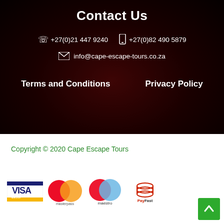Contact Us
+27(0)21 447 9240   +27(0)82 490 5879
info@cape-escape-tours.co.za
Terms and Conditions   Privacy Policy
Copyright © 2020 Cape Escape Tours
[Figure (logo): Payment logos: VISA, Masterpass, Maestro, PayFast]
[Figure (other): Back to top button with up arrow, green background]